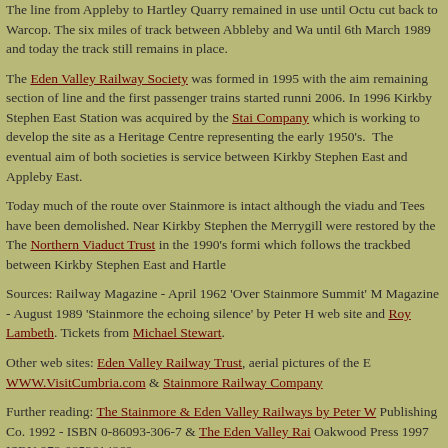The line from Appleby to Hartley Quarry remained in use until ... cut back to Warcop. The six miles of track between Abbleby and Wa... until 6th March 1989 and today the track still remains in place.
The Eden Valley Railway Society was formed in 1995 with the aim ... remaining section of line and the first passenger trains started runni... 2006. In 1996 Kirkby Stephen East Station was acquired by the Stainmore Railway Company which is working to develop the site as a Heritage Centre ... representing the early 1950's. The eventual aim of both societies is ... service between Kirkby Stephen East and Appleby East.
Today much of the route over Stainmore is intact although the viadu... and Tees have been demolished. Near Kirkby Stephen the Merrygill... were restored by the The Northern Viaduct Trust in the 1990's formi... which follows the trackbed between Kirkby Stephen East and Hartle...
Sources: Railway Magazine - April 1962 'Over Stainmore Summit' ... Magazine - August 1989 'Stainmore the echoing silence' by Peter H... web site and Roy Lambeth. Tickets from Michael Stewart.
Other web sites: Eden Valley Railway Trust, aerial pictures of the E... WWW.VisitCumbria.com & Stainmore Railway Company
Further reading: The Stainmore & Eden Valley Railways by Peter W... Publishing Co. 1992 - ISBN 0-86093-306-7 & The Eden Valley Rai... Oakwood Press 1997 ISBN 978-0853614869